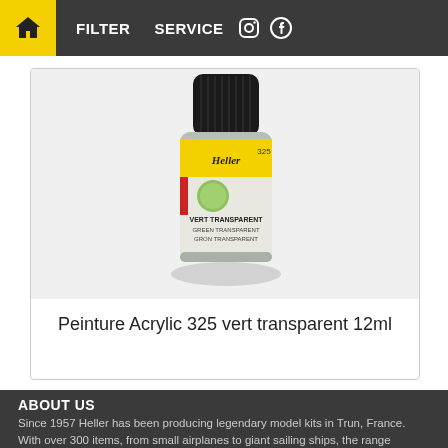FILTER  SERVICE
[Figure (photo): A small Heller acrylic paint bottle (325 vert transparent / green transparent) with a black ribbed cap, yellow label band, and white label showing VERT TRANSPARENT / GREEN TRANSPARENT / GRON TRANSPARENT]
Peinture Acrylic 325 vert transparent 12ml
ABOUT US
Since 1957 Heller has been producing legendary model kits in Trun, France. With over 300 items, from small airplanes to giant sailing ships, the range inspires beginners as well as model building professionals all over the world. #legendarymodels